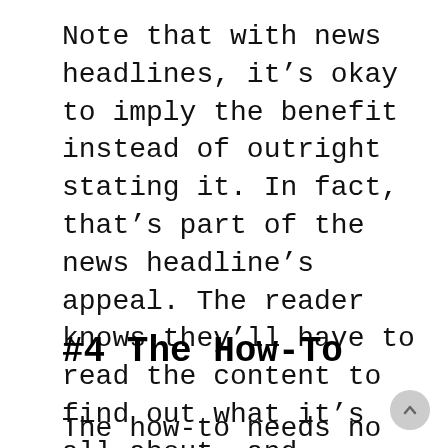Note that with news headlines, it's okay to imply the benefit instead of outright stating it. In fact, that's part of the news headline's appeal. The reader knows they'll have to read the content to find out what it's all about, and they're okay with that. This is because, again, they've been conditioned to consume news media.
#4 The How-To
The how-to needs no introduction.